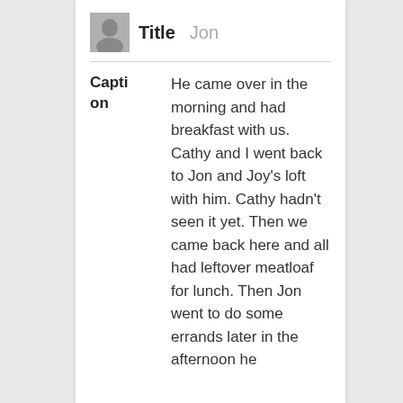[Figure (photo): Small black and white portrait photo of a person]
Jon
He came over in the morning and had breakfast with us. Cathy and I went back to Jon and Joy's loft with him. Cathy hadn't seen it yet. Then we came back here and all had leftover meatloaf for lunch. Then Jon went to do some errands later in the afternoon he